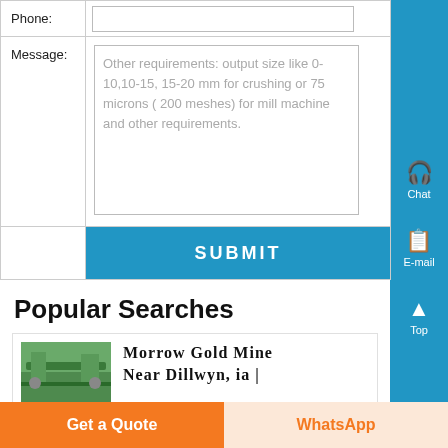| Phone: |  |
| Message: | Other requirements: output size like 0-10,10-15, 15-20 mm for crushing or 75 microns ( 200 meshes) for mill machine and other requirements. |
|  | SUBMIT |
Popular Searches
[Figure (photo): Thumbnail image of industrial mining/crushing machinery (green conveyor or table)]
Morrow Gold Mine Near Dillwyn, ia |
Get a Quote
WhatsApp